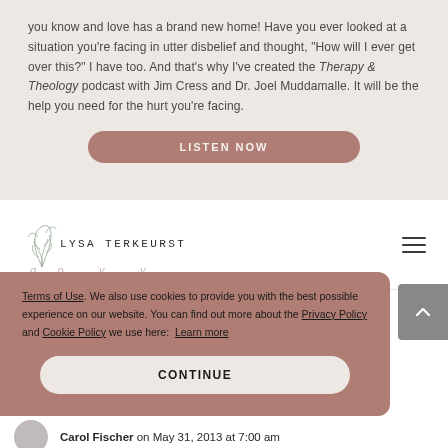you know and love has a brand new home! Have you ever looked at a situation you're facing in utter disbelief and thought, "How will I ever get over this?" I have too. And that's why I've created the Therapy & Theology podcast with Jim Cress and Dr. Joel Muddamalle. It will be the help you need for the hurt you're facing.
[Figure (screenshot): LISTEN NOW button — rounded rectangle, mauve/dusty rose color]
[Figure (logo): Lysa TerKeurst logo with leaf/botanical illustration and uppercase spaced lettering]
Terms of Use. We also use cookies to provide you with the best possible experience on our website. You can find out more about the Privacy Policy and Cookie Policy we use here: Learn more
[Figure (screenshot): CONTINUE button — rounded rectangle, light beige color on mauve background cookie consent overlay]
Carol Fischer on May 31, 2013 at 7:00 am